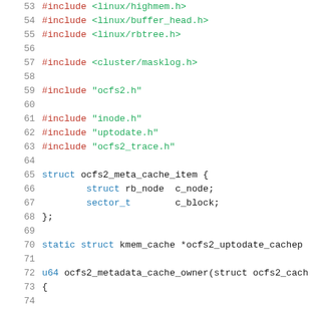53  #include <linux/highmem.h>
54  #include <linux/buffer_head.h>
55  #include <linux/rbtree.h>
56
57  #include <cluster/masklog.h>
58
59  #include "ocfs2.h"
60
61  #include "inode.h"
62  #include "uptodate.h"
63  #include "ocfs2_trace.h"
64
65  struct ocfs2_meta_cache_item {
66          struct rb_node  c_node;
67          sector_t        c_block;
68  };
69
70  static struct kmem_cache *ocfs2_uptodate_cachep
71
72  u64 ocfs2_metadata_cache_owner(struct ocfs2_cach
73  {
74